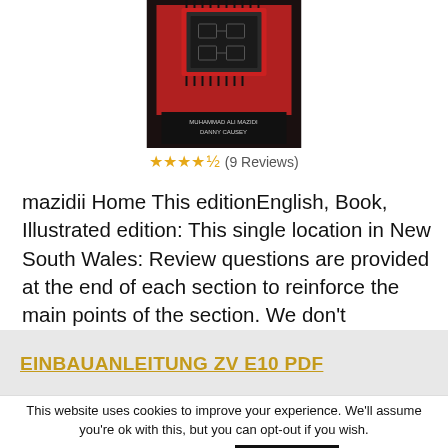[Figure (photo): Book cover of a textbook with dark background, circuit/chip imagery, titled with authors Muhammad Ali Mazidi and Danny Causey]
★★★★½ (9 Reviews)
mazidii Home This editionEnglish, Book, Illustrated edition: This single location in New South Wales: Review questions are provided at the end of each section to reinforce the main points of the section. We don't recognize your username or password.
EINBAUANLEITUNG ZV E10 PDF
This website uses cookies to improve your experience. We'll assume you're ok with this, but you can opt-out if you wish.
Cookie settings
ACCEPT